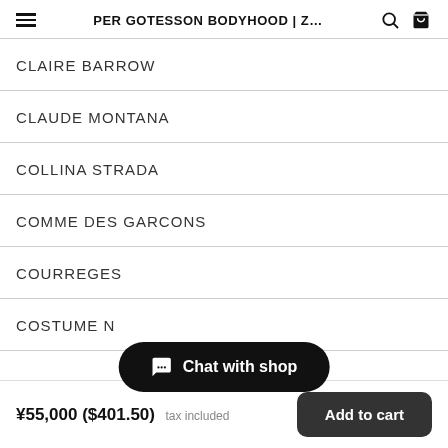PER GOTESSON BODYHOOD | Z...
CLAIRE BARROW
CLAUDE MONTANA
COLLINA STRADA
COMME DES GARCONS
COURREGES
COSTUME N
¥55,000 ($401.50) tax included
Add to cart
Chat with shop